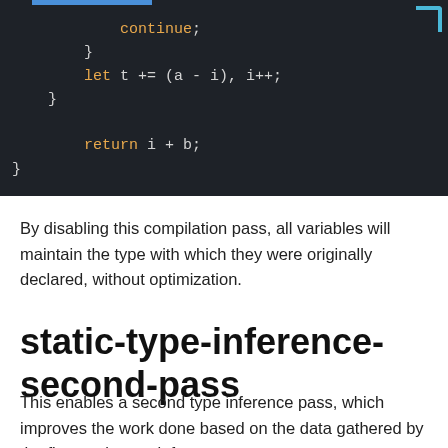[Figure (screenshot): Dark-themed code editor screenshot showing code with 'continue;', a closing brace, 'let t += (a - i), i++;', another closing brace, 'return i + b;', and a final closing brace. Keywords 'let' and 'return' are highlighted in orange.]
By disabling this compilation pass, all variables will maintain the type with which they were originally declared, without optimization.
static-type-inference-second-pass
This enables a second type inference pass, which improves the work done based on the data gathered by the first static type inference pass.